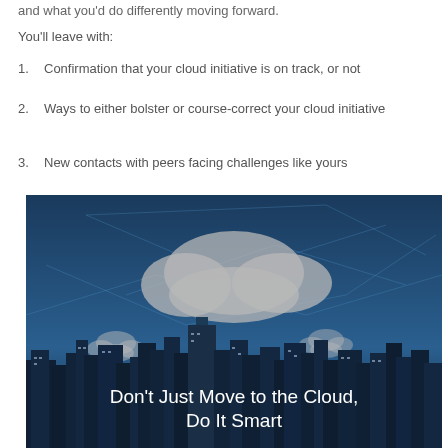and what you’d do differently moving forward.
You’ll leave with:
Confirmation that your cloud initiative is on track, or not
Ways to either bolster or course-correct your cloud initiative
New contacts with peers facing challenges like yours
[Figure (photo): City skyline at night with blue overlay and a cloud icon above, with text reading 'Don’t Just Move to the Cloud, Do It Smart']